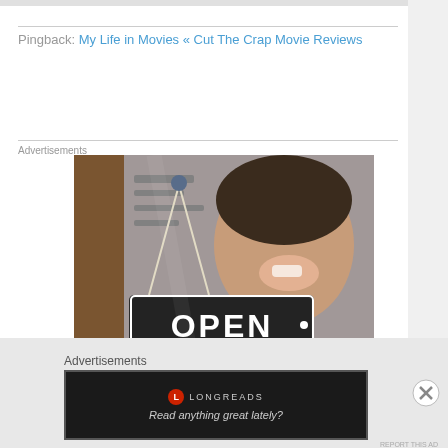Pingback: My Life in Movies « Cut The Crap Movie Reviews
Advertisements
[Figure (photo): A smiling woman holding an OPEN sign in a shop window]
Advertisements
[Figure (screenshot): Longreads advertisement banner: red circle logo, 'LONGREADS' text, tagline 'Read anything great lately?']